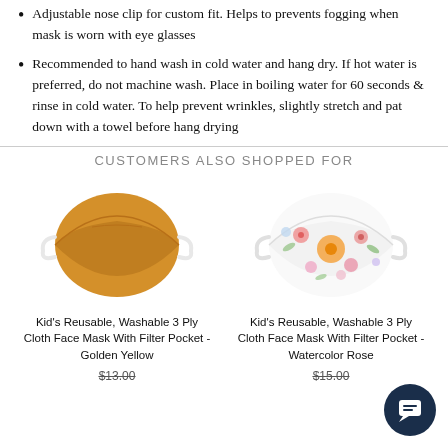Adjustable nose clip for custom fit. Helps to prevents fogging when mask is worn with eye glasses
Recommended to hand wash in cold water and hang dry. If hot water is preferred, do not machine wash. Place in boiling water for 60 seconds & rinse in cold water. To help prevent wrinkles, slightly stretch and pat down with a towel before hang drying
CUSTOMERS ALSO SHOPPED FOR
[Figure (photo): Kid's reusable face mask in Golden Yellow color]
Kid's Reusable, Washable 3 Ply Cloth Face Mask With Filter Pocket - Golden Yellow
$13.00
[Figure (photo): Kid's reusable face mask with Watercolor Rose floral pattern]
Kid's Reusable, Washable 3 Ply Cloth Face Mask With Filter Pocket - Watercolor Rose
$15.00